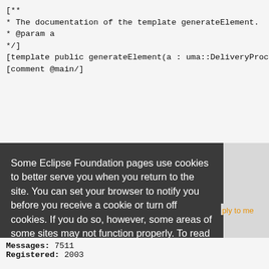[**
* The documentation of the template generateElement.
* @param a
*/]
[template public generateElement(a : uma::DeliveryProcess )]
[comment @main/]
Some Eclipse Foundation pages use cookies to better serve you when you return to the site. You can set your browser to notify you before you receive a cookie or turn off cookies. If you do so, however, some areas of some sites may not function properly. To read Eclipse Foundation Privacy Policy
click here.
Decline
Allow cookies
Messages: 7511
Registered: 2003